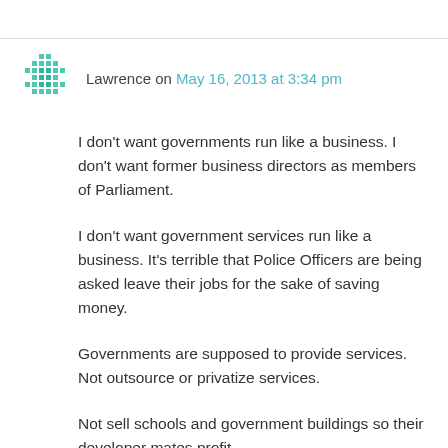[Figure (illustration): Pixelated teal/green avatar icon made of small square dots arranged in a cross/snowflake pattern]
Lawrence on May 16, 2013 at 3:34 pm
I don't want governments run like a business. I don't want former business directors as members of Parliament.
I don't want government services run like a business. It's terrible that Police Officers are being asked leave their jobs for the sake of saving money.
Governments are supposed to provide services. Not outsource or privatize services.
Not sell schools and government buildings so their developer mates profit.